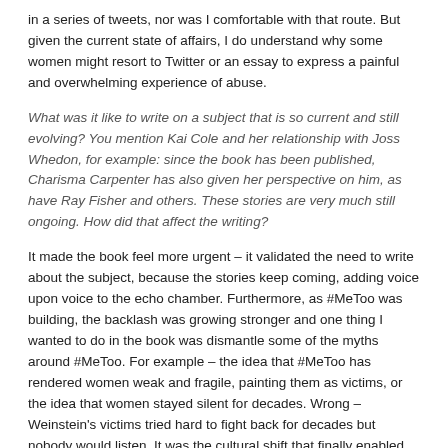in a series of tweets, nor was I comfortable with that route. But given the current state of affairs, I do understand why some women might resort to Twitter or an essay to express a painful and overwhelming experience of abuse.
What was it like to write on a subject that is so current and still evolving? You mention Kai Cole and her relationship with Joss Whedon, for example: since the book has been published, Charisma Carpenter has also given her perspective on him, as have Ray Fisher and others. These stories are very much still ongoing. How did that affect the writing?
It made the book feel more urgent – it validated the need to write about the subject, because the stories keep coming, adding voice upon voice to the echo chamber. Furthermore, as #MeToo was building, the backlash was growing stronger and one thing I wanted to do in the book was dismantle some of the myths around #MeToo. For example – the idea that #MeToo has rendered women weak and fragile, painting them as victims, or the idea that women stayed silent for decades. Wrong – Weinstein's victims tried hard to fight back for decades but nobody would listen. It was the cultural shift that finally enabled them to be heard. When I began writing the book, Weinstein's trial had not yet occurred and I had to tread carefully, making sure I put "allegedly" next to each accusation about him; I was doing final edits when it was announced that he had been convicted. I think we all felt such a rush of emotion that day: relief, triumph, gladness, sadness. Given how few